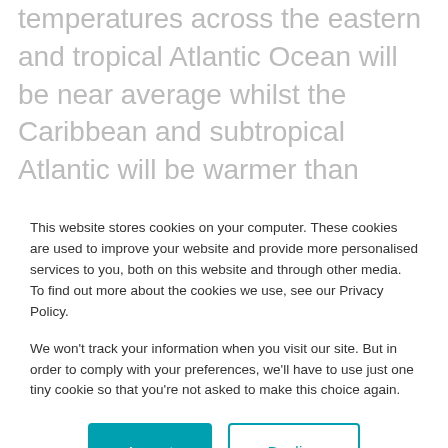and a high probability that sea surface temperatures across the eastern and tropical Atlantic Ocean will be near average whilst the Caribbean and subtropical Atlantic will be warmer than normal.
NOAA's Atlantic Oceanographic and Meteorological Laboratory (AOML) will be undertaking ground-breaking research this season for better hurricane prediction…
This website stores cookies on your computer. These cookies are used to improve your website and provide more personalised services to you, both on this website and through other media. To find out more about the cookies we use, see our Privacy Policy.
We won't track your information when you visit our site. But in order to comply with your preferences, we'll have to use just one tiny cookie so that you're not asked to make this choice again.